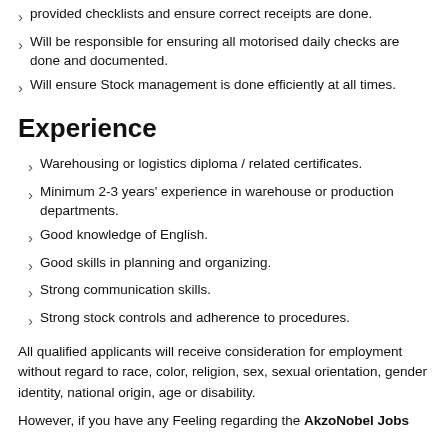provided checklists and ensure correct receipts are done.
Will be responsible for ensuring all motorised daily checks are done and documented.
Will ensure Stock management is done efficiently at all times.
Experience
Warehousing or logistics diploma / related certificates.
Minimum 2-3 years' experience in warehouse or production departments.
Good knowledge of English.
Good skills in planning and organizing.
Strong communication skills.
Strong stock controls and adherence to procedures.
All qualified applicants will receive consideration for employment without regard to race, color, religion, sex, sexual orientation, gender identity, national origin, age or disability.
However, if you have any Feeling regarding the AkzoNobel Jobs